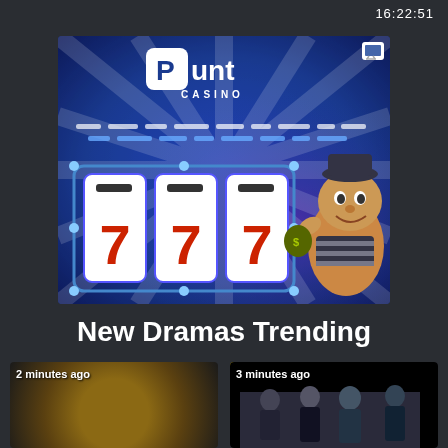16:22:51
[Figure (screenshot): Punt Casino advertisement banner showing the Punt Casino logo with a burglar cartoon character and three slot machine reels showing 777, on a dark blue background with light rays]
New Dramas Trending
[Figure (photo): Video thumbnail showing gold/bronze circular object, labeled '2 minutes ago']
[Figure (photo): Video thumbnail showing group of people in formal dark attire, labeled '3 minutes ago']